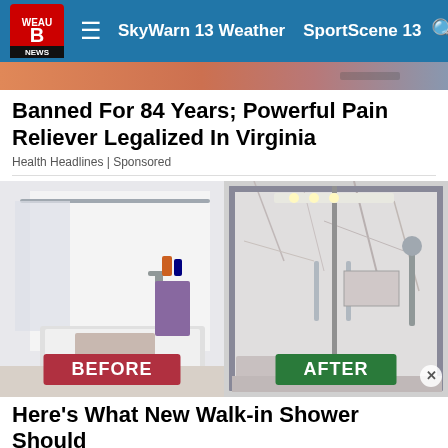SkyWarn 13 Weather  SportScene 13
[Figure (photo): Top partial image strip showing a warm-toned background]
Banned For 84 Years; Powerful Pain Reliever Legalized In Virginia
Health Headlines | Sponsored
[Figure (photo): Before and after comparison of bathroom shower renovation. Left side shows a standard bathtub with white walls, shower curtain rod, and purple towel labeled BEFORE. Right side shows a modern marble-tiled walk-in shower with glass door labeled AFTER.]
Here's What New Walk-in Shower Should